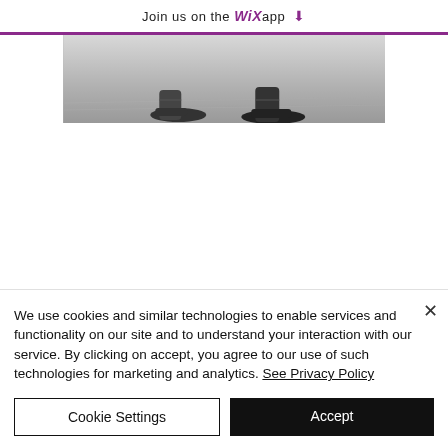Join us on the WiX app ⬇
[Figure (photo): Black and white photograph showing feet/shoes of people, cropped to show lower portion]
We use cookies and similar technologies to enable services and functionality on our site and to understand your interaction with our service. By clicking on accept, you agree to our use of such technologies for marketing and analytics. See Privacy Policy
Cookie Settings
Accept